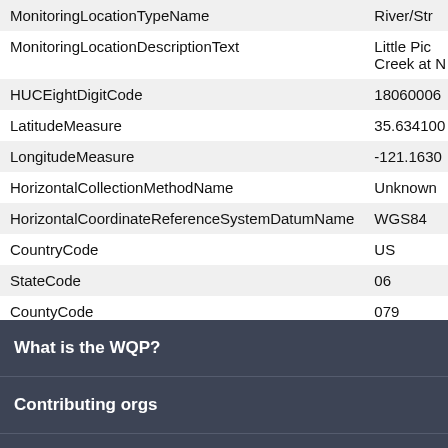| Field | Value |
| --- | --- |
| MonitoringLocationTypeName | River/Str |
| MonitoringLocationDescriptionText | Little Pic
Creek at N |
| HUCEightDigitCode | 18060006 |
| LatitudeMeasure | 35.634100 |
| LongitudeMeasure | -121.1630 |
| HorizontalCollectionMethodName | Unknown |
| HorizontalCoordinateReferenceSystemDatumName | WGS84 |
| CountryCode | US |
| StateCode | 06 |
| CountyCode | 079 |
| ProviderName | STORET |
What is the WQP?
Contributing orgs
Apps using the WQP